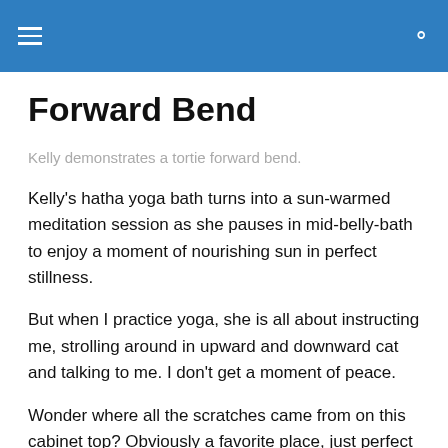Forward Bend
Kelly demonstrates a tortie forward bend.
Kelly's hatha yoga bath turns into a sun-warmed meditation session as she pauses in mid-belly-bath to enjoy a moment of nourishing sun in perfect stillness.
But when I practice yoga, she is all about instructing me, strolling around in upward and downward cat and talking to me. I don't get a moment of peace.
Wonder where all the scratches came from on this cabinet top? Obviously a favorite place, just perfect for an old salvaged cabinet meant to take a beating.